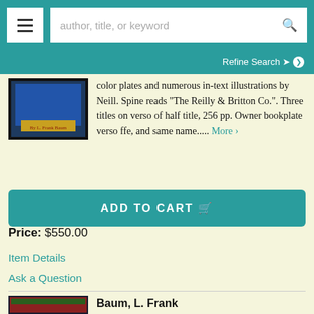author, title, or keyword [search bar] Refine Search
color plates and numerous in-text illustrations by Neill. Spine reads "The Reilly & Britton Co.". Three titles on verso of half title, 256 pp. Owner bookplate verso ffe, and same name..... More >
ADD TO CART
Price: $550.00
Item Details
Ask a Question
Baum, L. Frank